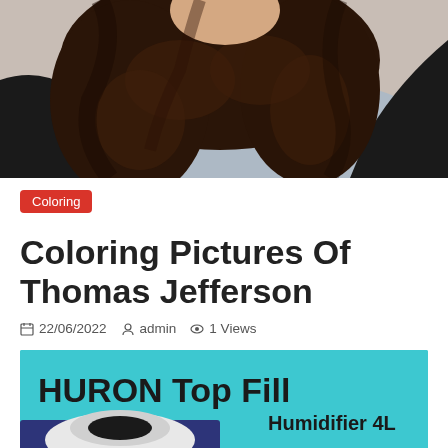[Figure (photo): Close-up photo of a woman with dark curly hair wearing a black blazer and light blue v-neck shirt, cropped to show hair and shoulders]
Coloring
Coloring Pictures Of Thomas Jefferson
22/06/2022  admin  1 Views
[Figure (photo): Advertisement banner for HURON Top Fill Humidifier 4L with cyan background showing product image]